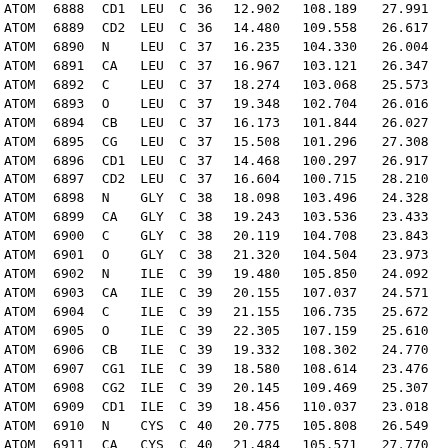| ATOM | 6888 | CD1 | LEU | C | 36 | 12.902 | 108.189 | 27.991 |
| ATOM | 6889 | CD2 | LEU | C | 36 | 14.480 | 109.558 | 26.617 |
| ATOM | 6890 | N | LEU | C | 37 | 16.235 | 104.330 | 26.004 |
| ATOM | 6891 | CA | LEU | C | 37 | 16.967 | 103.121 | 26.347 |
| ATOM | 6892 | C | LEU | C | 37 | 18.274 | 103.068 | 25.573 |
| ATOM | 6893 | O | LEU | C | 37 | 19.348 | 102.704 | 26.016 |
| ATOM | 6894 | CB | LEU | C | 37 | 16.173 | 101.844 | 26.027 |
| ATOM | 6895 | CG | LEU | C | 37 | 15.508 | 101.296 | 27.308 |
| ATOM | 6896 | CD1 | LEU | C | 37 | 14.468 | 100.297 | 26.917 |
| ATOM | 6897 | CD2 | LEU | C | 37 | 16.604 | 100.715 | 28.210 |
| ATOM | 6898 | N | GLY | C | 38 | 18.098 | 103.496 | 24.328 |
| ATOM | 6899 | CA | GLY | C | 38 | 19.243 | 103.536 | 23.433 |
| ATOM | 6900 | C | GLY | C | 38 | 20.119 | 104.708 | 23.843 |
| ATOM | 6901 | O | GLY | C | 38 | 21.320 | 104.504 | 23.973 |
| ATOM | 6902 | N | ILE | C | 39 | 19.480 | 105.850 | 24.092 |
| ATOM | 6903 | CA | ILE | C | 39 | 20.155 | 107.037 | 24.571 |
| ATOM | 6904 | C | ILE | C | 39 | 21.155 | 106.735 | 25.672 |
| ATOM | 6905 | O | ILE | C | 39 | 22.305 | 107.159 | 25.610 |
| ATOM | 6906 | CB | ILE | C | 39 | 19.332 | 108.302 | 24.770 |
| ATOM | 6907 | CG1 | ILE | C | 39 | 18.580 | 108.614 | 23.476 |
| ATOM | 6908 | CG2 | ILE | C | 39 | 20.145 | 109.469 | 25.307 |
| ATOM | 6909 | CD1 | ILE | C | 39 | 18.456 | 110.037 | 23.018 |
| ATOM | 6910 | N | CYS | C | 40 | 20.775 | 105.808 | 26.549 |
| ATOM | 6911 | CA | CYS | C | 40 | 21.484 | 105.571 | 27.770 |
| ATOM | 6912 | C | CYS | C | 40 | 22.627 | 104.667 | 27.342 |
| ATOM | 6913 | O | CYS | C | 40 | 23.768 | 104.785 | 27.749 |
| ATOM | 6914 | CB | CYS | C | 40 | 20.603 | 104.823 | 28.784 |
| ATOM | 6915 | SG | CYS | C | 40 | 19.175 | 105.803 | 29.447 |
| ATOM | 6916 | N | LEU | C | 41 | 22.313 | 103.795 | 26.355 |
| ATOM | 6917 | CA | LEU | C | 41 | 23.345 | 102.884 | 25.974 |